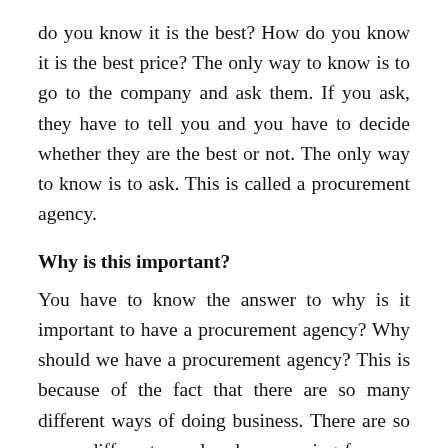do you know it is the best? How do you know it is the best price? The only way to know is to go to the company and ask them. If you ask, they have to tell you and you have to decide whether they are the best or not. The only way to know is to ask. This is called a procurement agency.
Why is this important?
You have to know the answer to why is it important to have a procurement agency? Why should we have a procurement agency? This is because of the fact that there are so many different ways of doing business. There are so many different people who are vying for your business. There are so many different kinds of